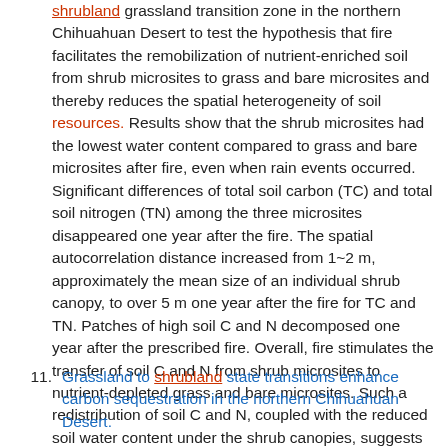shrubland grassland transition zone in the northern Chihuahuan Desert to test the hypothesis that fire facilitates the remobilization of nutrient-enriched soil from shrub microsites to grass and bare microsites and thereby reduces the spatial heterogeneity of soil resources. Results show that the shrub microsites had the lowest water content compared to grass and bare microsites after fire, even when rain events occurred. Significant differences of total soil carbon (TC) and total soil nitrogen (TN) among the three microsites disappeared one year after the fire. The spatial autocorrelation distance increased from 1~2 m, approximately the mean size of an individual shrub canopy, to over 5 m one year after the fire for TC and TN. Patches of high soil C and N decomposed one year after the prescribed fire. Overall, fire stimulates the transfer of soil C and N from shrub microsites to nutrient-depleted grass and bare microsites. Such a redistribution of soil C and N, coupled with the reduced soil water content under the shrub canopies, suggests that fire might influence the competition between shrubs and grasses, leading to a higher grass, compared to shrub, coverage in this ecotone.
11. Grassland to shrubland state transitions enhance carbon sequestration in the northern Chihuahuan Desert.